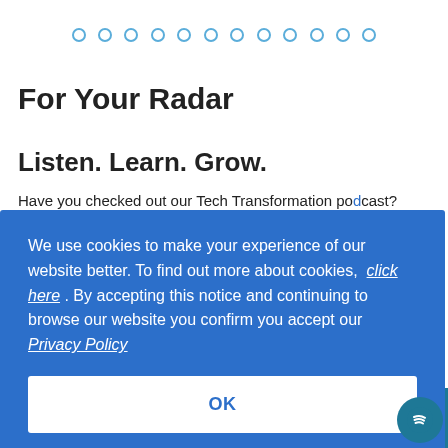[Figure (other): Row of hollow circle dots as pagination indicator]
For Your Radar
Listen. Learn. Grow.
Have you checked out our Tech Transformation podcast?
itive
e's just
[Figure (other): Cookie consent banner overlay with blue background reading: We use cookies to make your experience of our website better. To find out more about cookies, click here . By accepting this notice and continuing to browse our website you confirm you accept our Privacy Policy. With an OK button.]